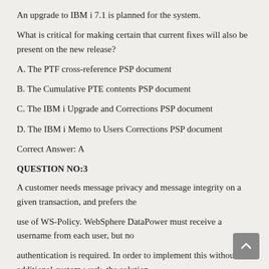An upgrade to IBM i 7.1 is planned for the system.
What is critical for making certain that current fixes will also be present on the new release?
A. The PTF cross-reference PSP document
B. The Cumulative PTE contents PSP document
C. The IBM i Upgrade and Corrections PSP document
D. The IBM i Memo to Users Corrections PSP document
Correct Answer: A
QUESTION NO:3
A customer needs message privacy and message integrity on a given transaction, and prefers the
use of WS-Policy. WebSphere DataPower must receive a username from each user, but no
authentication is required. In order to implement this without additional custom work, the solution